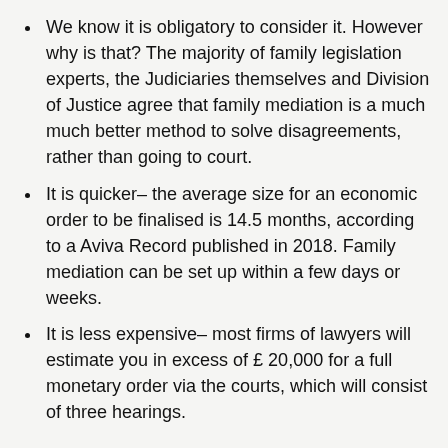We know it is obligatory to consider it. However why is that? The majority of family legislation experts, the Judiciaries themselves and Division of Justice agree that family mediation is a much much better method to solve disagreements, rather than going to court.
It is quicker– the average size for an economic order to be finalised is 14.5 months, according to a Aviva Record published in 2018. Family mediation can be set up within a few days or weeks.
It is less expensive– most firms of lawyers will estimate you in excess of £ 20,000 for a full monetary order via the courts, which will consist of three hearings.